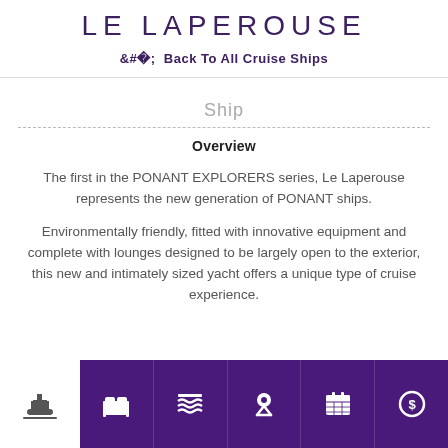LE LAPEROUSE
< Back To All Cruise Ships
Ship
Overview
The first in the PONANT EXPLORERS series, Le Laperouse represents the new generation of PONANT ships.
Environmentally friendly, fitted with innovative equipment and complete with lounges designed to be largely open to the exterior, this new and intimately sized yacht offers a unique type of cruise experience.
[Figure (screenshot): Bottom navigation bar with ship icon on left (white background) and 6 purple navigation icons: bed/cabin, waves/deck, location pin, calendar, dollar sign circle]